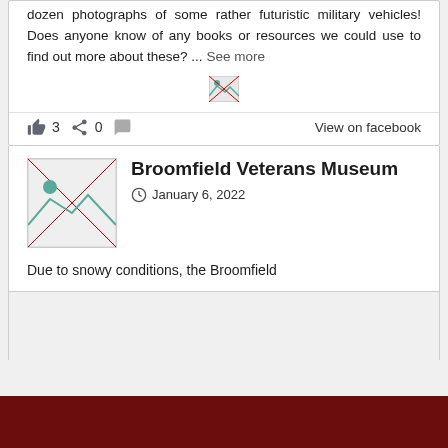dozen photographs of some rather futuristic military vehicles! Does anyone know of any books or resources we could use to find out more about these? ... See more
[Figure (photo): Broken image placeholder icon]
3  0  View on facebook
Broomfield Veterans Museum
January 6, 2022
Due to snowy conditions, the Broomfield